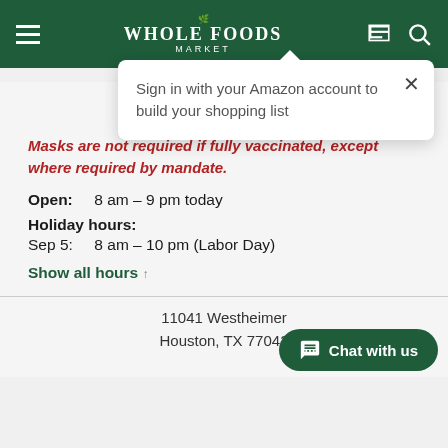[Figure (screenshot): Whole Foods Market website header with green background, hamburger menu icon, Whole Foods Market logo in center, shopping list and search icons on right]
Sign in with your Amazon account to build your shopping list
Westchase
Masks are not required if fully vaccinated, except where required by mandate.
Open: 8 am – 9 pm today
Holiday hours:
Sep 5: 8 am – 10 pm (Labor Day)
Show all hours
11041 Westheimer
Houston, TX 77042